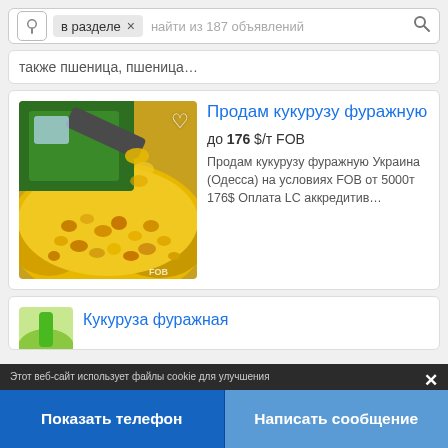в разделе × найти из 187 объявлений
также пшеница, пшеница…
Продам кукурузу фуражную
до 176 $/т FOB
Продам кукурузу фуражную Украина (Одесса) на условиях FOB от 5000т 176$ Оплата LC аккредитив…
[Figure (photo): Photo of corn kernels being harvested by a green combine harvester]
Кукуруза фуражная
Этот веб-сайт использует файлы cookie для улучшения
Показать телефон
Написать сообщение